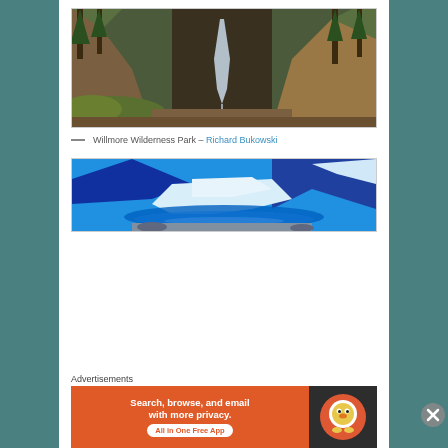[Figure (photo): Waterfall in a rocky canyon surrounded by tall evergreen trees in Willmore Wilderness Park]
— Willmore Wilderness Park – Richard Bukowski
[Figure (photo): Glacier and blue glacial lake with snow-covered mountains under bright blue sky]
Advertisements
[Figure (infographic): DuckDuckGo advertisement banner: Search, browse, and email with more privacy. All in One Free App]